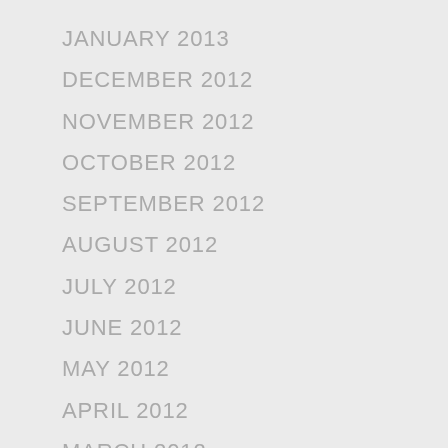JANUARY 2013
DECEMBER 2012
NOVEMBER 2012
OCTOBER 2012
SEPTEMBER 2012
AUGUST 2012
JULY 2012
JUNE 2012
MAY 2012
APRIL 2012
MARCH 2012
FEBRUARY 2012
JANUARY 2012
DECEMBER 2011
OCTOBER 2011